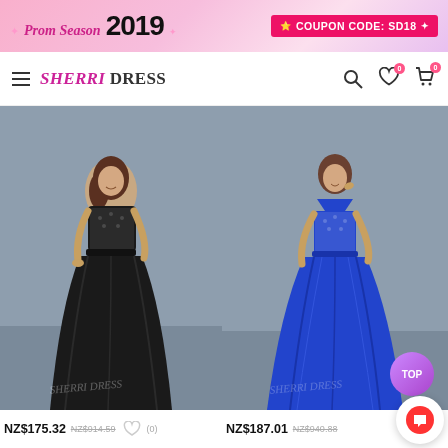[Figure (screenshot): Promotional banner: Prom Season 2019 with coupon code SD18 on pink background]
[Figure (screenshot): SherriDress website navigation bar with hamburger menu, logo, search, wishlist and cart icons]
[Figure (photo): Model wearing black sleeveless floor-length gown with lace bodice on grey background, watermarked SHERRI DRESS]
NZ$175.32  NZ$914.59  (0)
[Figure (photo): Model wearing royal blue V-neck floor-length gown with lace bodice on grey background, watermarked SHERRI DRESS]
NZ$187.01  NZ$940.88